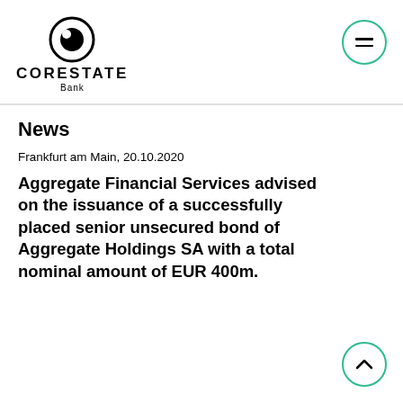[Figure (logo): Corestate Bank logo with circular icon above the text CORESTATE Bank]
News
Frankfurt am Main, 20.10.2020
Aggregate Financial Services advised on the issuance of a successfully placed senior unsecured bond of Aggregate Holdings SA with a total nominal amount of EUR 400m.